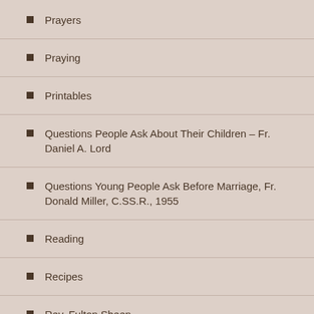Prayers
Praying
Printables
Questions People Ask About Their Children – Fr. Daniel A. Lord
Questions Young People Ask Before Marriage, Fr. Donald Miller, C.SS.R., 1955
Reading
Recipes
Rev. Fulton Sheen
Sacramentals
Scruples/Sadness
Seasons
Seasons, Feast Days, etc.
Sermons
Sex Instructions/Purity